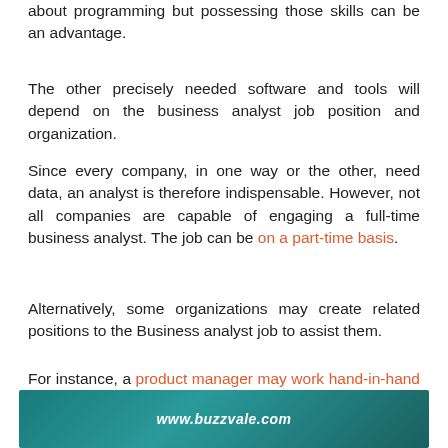about programming but possessing those skills can be an advantage.
The other precisely needed software and tools will depend on the business analyst job position and organization.
Since every company, in one way or the other, need data, an analyst is therefore indispensable. However, not all companies are capable of engaging a full-time business analyst. The job can be on a part-time basis.
Alternatively, some organizations may create related positions to the Business analyst job to assist them.
For instance, a product manager may work hand-in-hand with the BA's team to achieve a common goal.
[Figure (infographic): Teal/dark cyan banner with white italic bold text reading www.buzzvale.com]